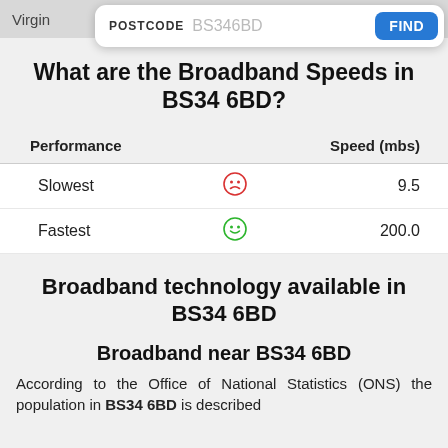Virgin
[Figure (screenshot): Search box with POSTCODE label, BS346BD placeholder text, and blue FIND button]
What are the Broadband Speeds in BS34 6BD?
| Performance |  | Speed (mbs) |
| --- | --- | --- |
| Slowest | ☹ | 9.5 |
| Fastest | ☺ | 200.0 |
Broadband technology available in BS34 6BD
Broadband near BS34 6BD
According to the Office of National Statistics (ONS) the population in BS34 6BD is described